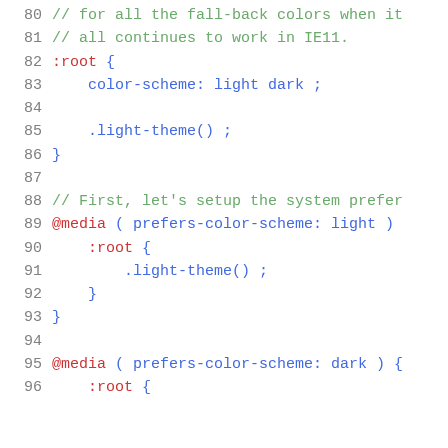Code listing lines 80–96 showing CSS custom properties and media queries for color-scheme light/dark support
[Figure (screenshot): Source code snippet in a code editor showing CSS lines 80–96 with syntax highlighting: comments in green, selectors and at-rules in red, property values in blue]